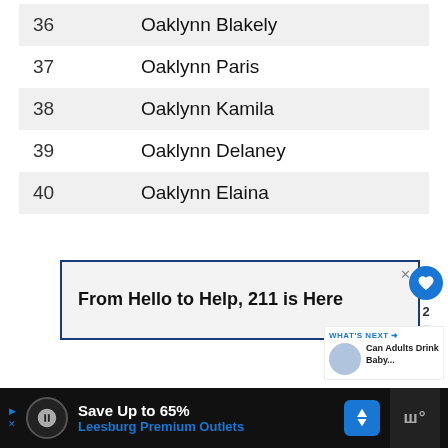| # | Name |
| --- | --- |
| 36 | Oaklynn Blakely |
| 37 | Oaklynn Paris |
| 38 | Oaklynn Kamila |
| 39 | Oaklynn Delaney |
| 40 | Oaklynn Elaina |
[Figure (infographic): Advertisement banner: 'From Hello to Help, 211 is Here' with a close button (x) in top right, dark blue border on light grey background]
[Figure (infographic): Sidebar UI with heart (like) button in blue circle, count of 2, and share button below]
[Figure (infographic): What's Next widget: 'Can Adults Drink Baby...' with thumbnail image]
[Figure (infographic): Bottom advertisement bar: 'Save Up to 65% Leesburg Premium Outlets' with logo and navigation arrow icon, dark background]